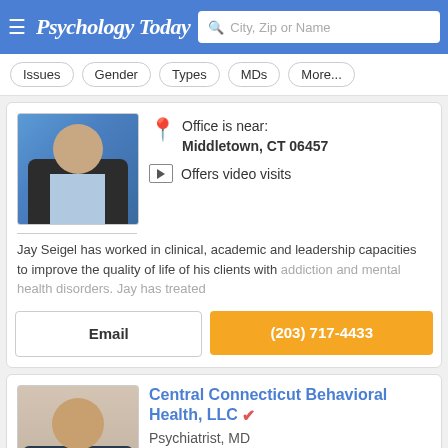Psychology Today — City, Zip or Name search bar
Issues
Gender
Types
MDs
More...
Office is near: Middletown, CT 06457
Offers video visits
Jay Seigel has worked in clinical, academic and leadership capacities to improve the quality of life of his clients with addiction and mental health disorders. Jay has treated
Email
(203) 717-4433
Central Connecticut Behavioral Health, LLC
Psychiatrist, MD
Office is near: Cromwell, CT 06416